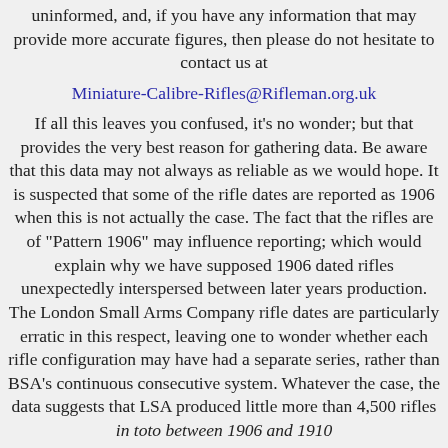uninformed, and, if you have any information that may provide more accurate figures, then please do not hesitate to contact us at
Miniature-Calibre-Rifles@Rifleman.org.uk
If all this leaves you confused, it's no wonder; but that provides the very best reason for gathering data. Be aware that this data may not always as reliable as we would hope. It is suspected that some of the rifle dates are reported as 1906 when this is not actually the case. The fact that the rifles are of "Pattern 1906" may influence reporting; which would explain why we have supposed 1906 dated rifles unexpectedly interspersed between later years production. The London Small Arms Company rifle dates are particularly erratic in this respect, leaving one to wonder whether each rifle configuration may have had a separate series, rather than BSA's continuous consecutive system. Whatever the case, the data suggests that LSA produced little more than 4,500 rifles in toto between 1906 and 1910